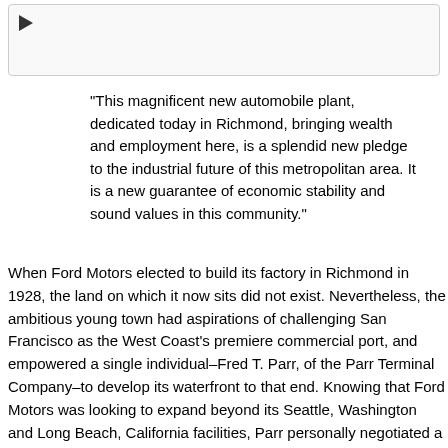[Figure (other): Media player box with a play button triangle icon]
"This magnificent new automobile plant, dedicated today in Richmond, bringing wealth and employment here, is a splendid new pledge to the industrial future of this metropolitan area. It is a new guarantee of economic stability and sound values in this community."
When Ford Motors elected to build its factory in Richmond in 1928, the land on which it now sits did not exist. Nevertheless, the ambitious young town had aspirations of challenging San Francisco as the West Coast's premiere commercial port, and empowered a single individual–Fred T. Parr, of the Parr Terminal Company–to develop its waterfront to that end. Knowing that Ford Motors was looking to expand beyond its Seattle, Washington and Long Beach, California facilities, Parr personally negotiated a deal with the automobile titan. To make space for the revolutionary new complex, capable of producing 400 cars a day, 72 acres of the Bay were filled in with concrete and dirt. Alongside, a 32-foot deep channel was dug to accommodate two freighters to receive cars as they rolled out of the plant.